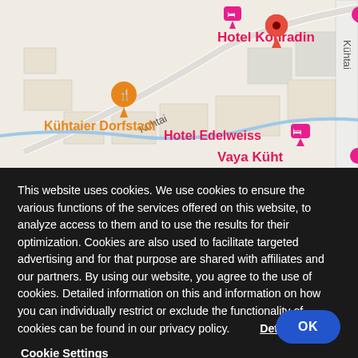[Figure (map): Google Maps screenshot showing an area in Kühtai, Austria with pins for Hotel Konradin, Kühtaier Dorfstadl, Hotel Edelweiss, and Vaya Kühtai. A road labeled 'Kühtai' is visible.]
This website uses cookies. We use cookies to ensure the various functions of the services offered on this website, to analyze access to them and to use the results for their optimization. Cookies are also used to facilitate targeted advertising and for that purpose are shared with affiliates and our partners. By using our website, you agree to the use of cookies. Detailed information on this and information on how you can individually restrict or exclude the functionality of cookies can be found in our privacy policy.    Details
Cookie Settings